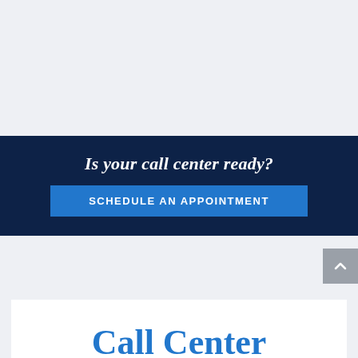Is your call center ready?
SCHEDULE AN APPOINTMENT
Call Center